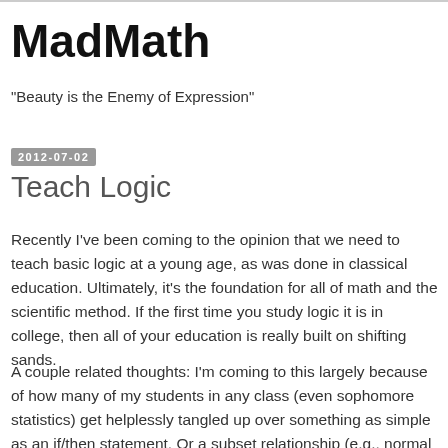MadMath
"Beauty is the Enemy of Expression"
2012-07-02
Teach Logic
Recently I've been coming to the opinion that we need to teach basic logic at a young age, as was done in classical education. Ultimately, it's the foundation for all of math and the scientific method. If the first time you study logic it is in college, then all of your education is really built on shifting sands.
A couple related thoughts: I'm coming to this largely because of how many of my students in any class (even sophomore statistics) get helplessly tangled up over something as simple as an if/then statement. Or a subset relationship (e.g., normal curves are bell-shaped, but bell-shaped is not the